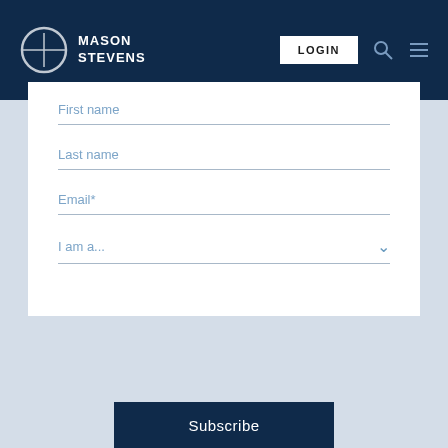MASON STEVENS — LOGIN navigation header
First name
Last name
Email*
I am a...
Subscribe